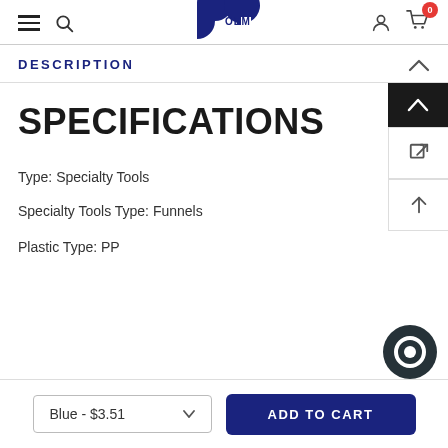GC OEM website header with navigation: hamburger menu, search, logo, user icon, cart (0)
DESCRIPTION
SPECIFICATIONS
Type: Specialty Tools
Specialty Tools Type: Funnels
Plastic Type: PP
Blue - $3.51  ADD TO CART